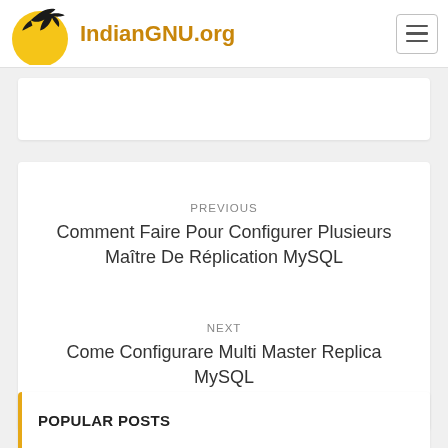IndianGNU.org
PREVIOUS
Comment Faire Pour Configurer Plusieurs Maître De Réplication MySQL
NEXT
Come Configurare Multi Master Replica MySQL
POPULAR POSTS